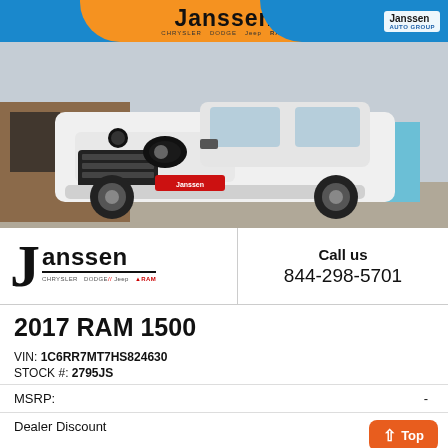[Figure (photo): White 2017 RAM 1500 truck parked in front of Janssen dealership. Dealer banner with Janssen Chrysler Dodge Jeep RAM and Janssen Auto Group logo visible at top.]
[Figure (logo): Janssen Chrysler Dodge Jeep RAM dealer logo with large J and brand names underlined]
Call us
844-298-5701
2017 RAM 1500
VIN: 1C6RR7MT7HS824630
STOCK #: 2795JS
MSRP:       -
Dealer Discount